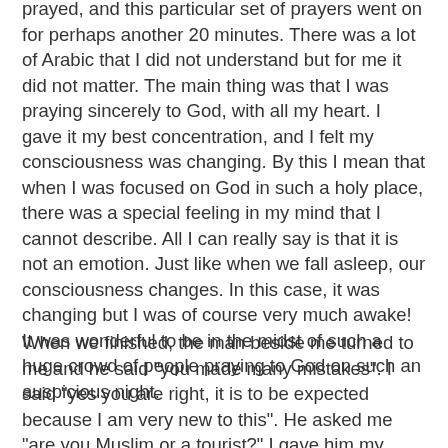prayed, and this particular set of prayers went on for perhaps another 20 minutes. There was a lot of Arabic that I did not understand but for me it did not matter. The main thing was that I was praying sincerely to God, with all my heart. I gave it my best concentration, and I felt my consciousness was changing. By this I mean that when I was focused on God in such a holy place, there was a special feeling in my mind that I cannot describe. All I can really say is that it is not an emotion. Just like when we fall asleep, our consciousness changes. In this case, it was changing but I was of course very much awake! It was wonderful to be in the midst of such a huge crowd of people praying to God on such an auspicious night.
When we finished, the man beside me turned to me and he said "you made many mistakes". I said "yes you are right, it is to be expected because I am very new to this". He asked me "are you Muslim or a tourist?" I gave him my answer, and he told me he wanted to teach me about Islam. While I think all prayers offered with sincerity are as real as each other, it is of course best to show respect for what is considered correct, so I was eager to hear what he had to say about